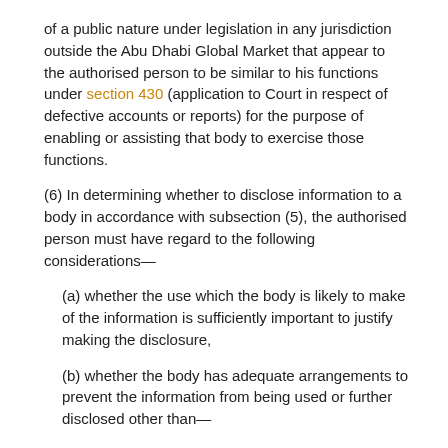of a public nature under legislation in any jurisdiction outside the Abu Dhabi Global Market that appear to the authorised person to be similar to his functions under section 430 (application to Court in respect of defective accounts or reports) for the purpose of enabling or assisting that body to exercise those functions.
(6) In determining whether to disclose information to a body in accordance with subsection (5), the authorised person must have regard to the following considerations—
(a) whether the use which the body is likely to make of the information is sufficiently important to justify making the disclosure,
(b) whether the body has adequate arrangements to prevent the information from being used or further disclosed other than—
(i) for the purposes of carrying out the functions mentioned in that subsection, or
(ii) for other purposes substantially similar to those for which information disclosed to the authorised person could be used